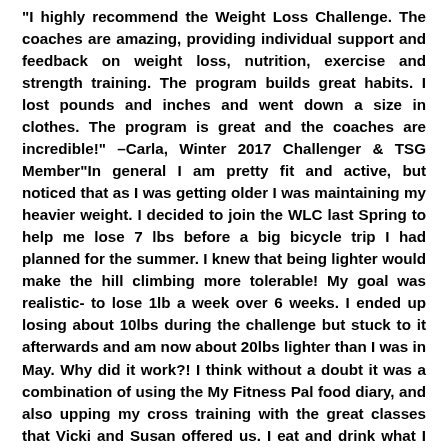"I highly recommend the Weight Loss Challenge. The coaches are amazing, providing individual support and feedback on weight loss, nutrition, exercise and strength training. The program builds great habits. I lost pounds and inches and went down a size in clothes. The program is great and the coaches are incredible!" –Carla, Winter 2017 Challenger & TSG Member"In general I am pretty fit and active, but noticed that as I was getting older I was maintaining my heavier weight. I decided to join the WLC last Spring to help me lose 7 lbs before a big bicycle trip I had planned for the summer. I knew that being lighter would make the hill climbing more tolerable! My goal was realistic- to lose 1lb a week over 6 weeks. I ended up losing about 10lbs during the challenge but stuck to it afterwards and am now about 20lbs lighter than I was in May. Why did it work?! I think without a doubt it was a combination of using the My Fitness Pal food diary, and also upping my cross training with the great classes that Vicki and Susan offered us. I eat and drink what I want, but I make more thoughtful choices about what to eat, when to eat it, and to view daily exercise as an investment in myself. The structure of the class was very supportive and the weekly personal check ins were very positive and completely non judgmental."